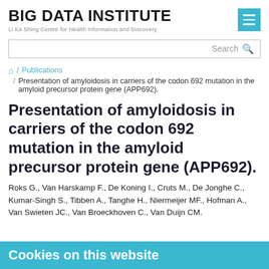BIG DATA INSTITUTE
Li Ka Shing Centre for Health Information and Discovery
Search
🏠 / Publications / Presentation of amyloidosis in carriers of the codon 692 mutation in the amyloid precursor protein gene (APP692).
Presentation of amyloidosis in carriers of the codon 692 mutation in the amyloid precursor protein gene (APP692).
Roks G., Van Harskamp F., De Koning I., Cruts M., De Jonghe C., Kumar-Singh S., Tibben A., Tanghe H., Niermeijer MF., Hofman A., Van Swieten JC., Van Broeckhoven C., Van Duijn CM.
Cookies on this website